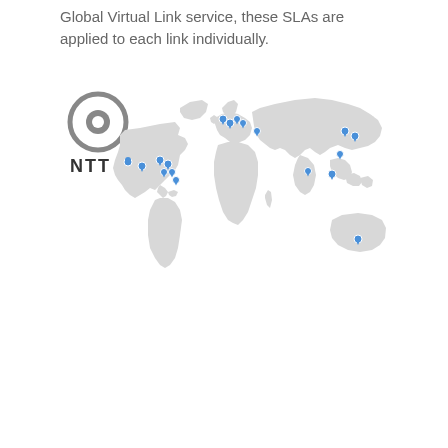Global Virtual Link service, these SLAs are applied to each link individually.
[Figure (map): World map with NTT logo showing global network locations marked with blue location pins across North America, Europe, Asia, and Australia]